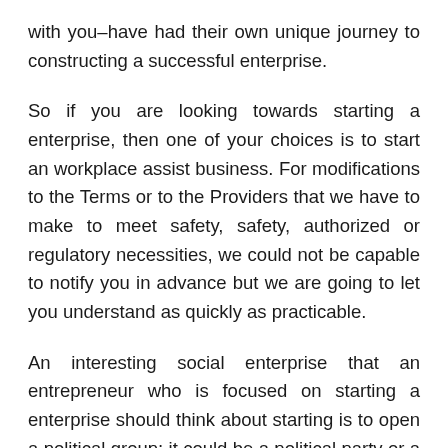with you–have had their own unique journey to constructing a successful enterprise.
So if you are looking towards starting a enterprise, then one of your choices is to start an workplace assist business. For modifications to the Terms or to the Providers that we have to make to meet safety, safety, authorized or regulatory necessities, we could not be capable to notify you in advance but we are going to let you understand as quickly as practicable.
An interesting social enterprise that an entrepreneur who is focused on starting a enterprise should think about starting is to open a political group; it could be a political party or a strain group et al. All you need to do is